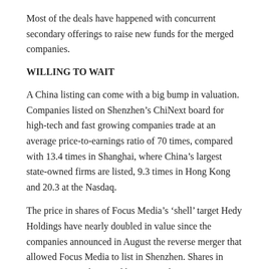Most of the deals have happened with concurrent secondary offerings to raise new funds for the merged companies.
WILLING TO WAIT
A China listing can come with a big bump in valuation. Companies listed on Shenzhen’s ChiNext board for high-tech and fast growing companies trade at an average price-to-earnings ratio of 70 times, compared with 13.4 times in Shanghai, where China’s largest state-owned firms are listed, 9.3 times in Hong Kong and 20.3 at the Nasdaq.
The price in shares of Focus Media’s ‘shell’ target Hedy Holdings have nearly doubled in value since the companies announced in August the reverse merger that allowed Focus Media to list in Shenzhen. Shares in Kingnet Network Co Ltd have soared 154 percent since April 2015, when Taiya Shoes made a bid for the mobile game developer.